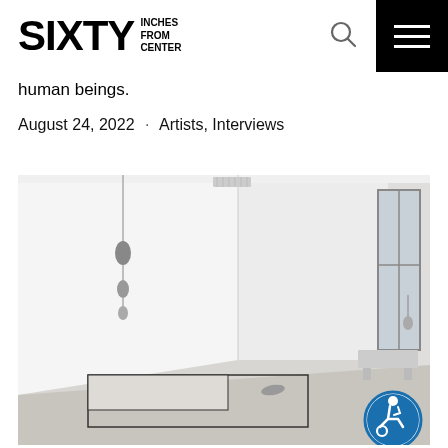SIXTY INCHES FROM CENTER
human beings.
August 24, 2022 · Artists, Interviews
[Figure (photo): Gallery installation photo showing a minimal white-walled room with hanging sculptural objects on the left wall, a flat geometric floor piece in the center, a bench and window on the right side, and an accessibility icon badge in the lower right corner.]